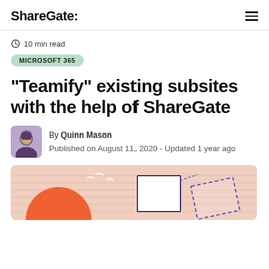ShareGate:
10 min read
MICROSOFT 365
“Teamify” existing subsites with the help of ShareGate
By Quinn Mason
Published on August 11, 2020 - Updated 1 year ago
[Figure (illustration): Hero illustration with a peach/salmon background showing a sunset with an orange sun, white birds, and geometric shapes including a solid rectangle and a dashed-border rectangle tilted at an angle, suggesting file/content migration.]